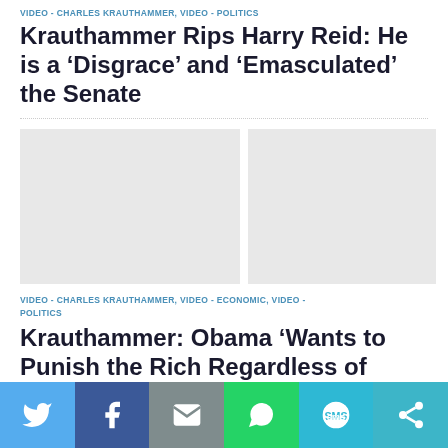VIDEO - CHARLES KRAUTHAMMER, VIDEO - POLITICS
Krauthammer Rips Harry Reid: He is a ‘Disgrace’ and ‘Emasculated’ the Senate
[Figure (photo): Two thumbnail images side by side, grey placeholder boxes]
VIDEO - CHARLES KRAUTHAMMER, VIDEO - ECONOMIC, VIDEO - POLITICS
Krauthammer: Obama ‘Wants to Punish the Rich Regardless of Effect on Economy’